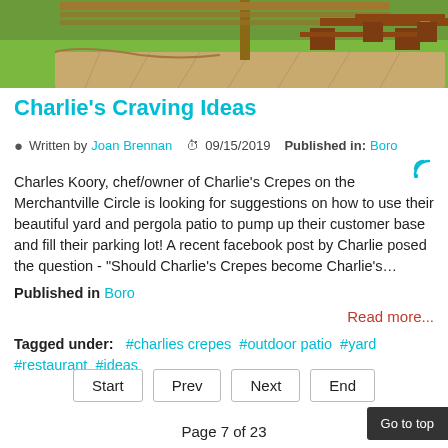[Figure (photo): Outdoor patio area with stamped concrete, wooden pergola, and picnic bench tables on green grass]
Charlie's Craving Ideas
Written by Joan Brennan  09/15/2019  Published in: Boro
Charles Koory, chef/owner of Charlie's Crepes on the Merchantville Circle is looking for suggestions on how to use their beautiful yard and pergola patio to pump up their customer base and fill their parking lot! A recent facebook post by Charlie posed the question - "Should Charlie's Crepes become Charlie's…
Published in Boro
Read more...
Tagged under:  #charlies crepes  #outdoor patio  #yard  #restaurant  #ideas
Page 7 of 23